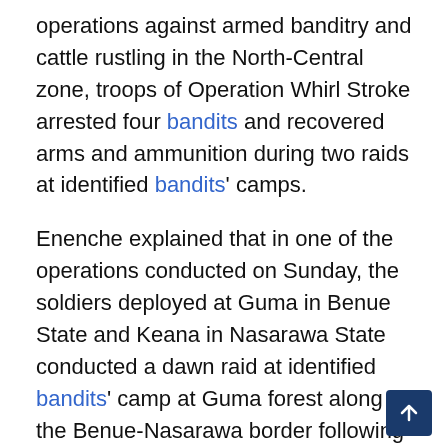operations against armed banditry and cattle rustling in the North-Central zone, troops of Operation Whirl Stroke arrested four bandits and recovered arms and ammunition during two raids at identified bandits' camps.
Enenche explained that in one of the operations conducted on Sunday, the soldiers deployed at Guma in Benue State and Keana in Nasarawa State conducted a dawn raid at identified bandits' camp at Guma forest along the Benue-Nasarawa border following actionable intelligence reports on the camp.
He said the troops stormed the location and engaged the bandits in a firefight, overwhelmin